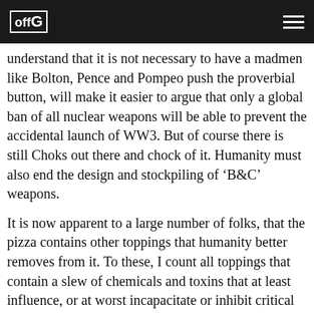offG
understand that it is not necessary to have a madmen like Bolton, Pence and Pompeo push the proverbial button, will make it easier to argue that only a global ban of all nuclear weapons will be able to prevent the accidental launch of WW3. But of course there is still Choks out there and chock of it. Humanity must also end the design and stockpiling of ‘B&C’ weapons.
It is now apparent to a large number of folks, that the pizza contains other toppings that humanity better removes from it. To these, I count all toppings that contain a slew of chemicals and toxins that at least influence, or at worst incapacitate or inhibit critical thinking and reason. Please refer to the articles here on OffGuardian about GMO food products and the huge amounts of pesticides/herbicides used in the agri-industry. In combination with fluoride (see also the article about fluoride on Paul Craig Roberts website) and without emphasis it should be clear that